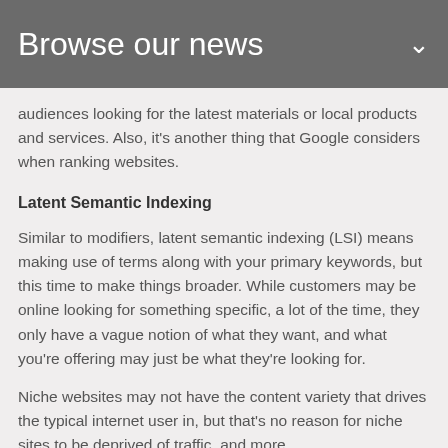Browse our news
audiences looking for the latest materials or local products and services. Also, it's another thing that Google considers when ranking websites.
Latent Semantic Indexing
Similar to modifiers, latent semantic indexing (LSI) means making use of terms along with your primary keywords, but this time to make things broader. While customers may be online looking for something specific, a lot of the time, they only have a vague notion of what they want, and what you're offering may just be what they're looking for.
Niche websites may not have the content variety that drives the typical internet user in, but that's no reason for niche sites to be deprived of traffic, and more